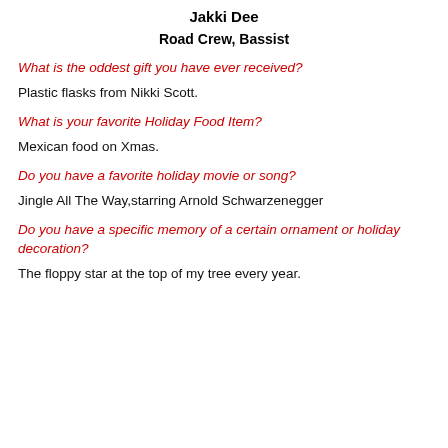Jakki Dee
Road Crew, Bassist
What is the oddest gift you have ever received?
Plastic flasks from Nikki Scott.
What is your favorite Holiday Food Item?
Mexican food on Xmas.
Do you have a favorite holiday movie or song?
Jingle All The Way,starring Arnold Schwarzenegger
Do you have a specific memory of a certain ornament or holiday decoration?
The floppy star at the top of my tree every year.